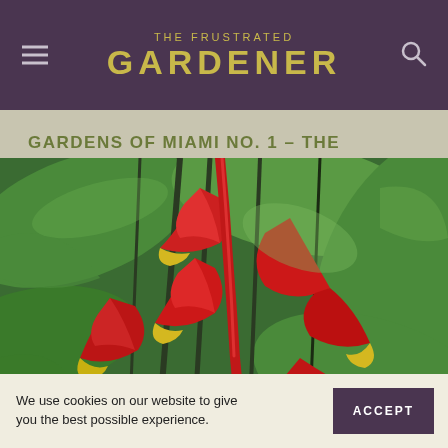THE FRUSTRATED GARDENER
GARDENS OF MIAMI NO. 1 – THE KAMPONG
[Figure (photo): Close-up photograph of red and yellow heliconia flowers with green tropical foliage in the background at The Kampong garden in Miami]
We use cookies on our website to give you the best possible experience.